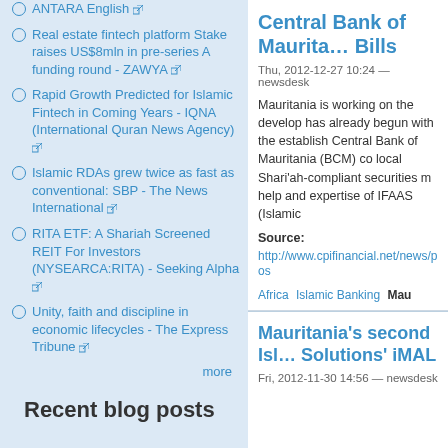ANTARA English [external link]
Real estate fintech platform Stake raises US$8mln in pre-series A funding round - ZAWYA [external link]
Rapid Growth Predicted for Islamic Fintech in Coming Years - IQNA (International Quran News Agency) [external link]
Islamic RDAs grew twice as fast as conventional: SBP - The News International [external link]
RITA ETF: A Shariah Screened REIT For Investors (NYSEARCA:RITA) - Seeking Alpha [external link]
Unity, faith and discipline in economic lifecycles - The Express Tribune [external link]
more
Recent blog posts
Central Bank of Mauritania Bills
Thu, 2012-12-27 10:24 — newsdesk
Mauritania is working on the develop has already begun with the establish Central Bank of Mauritania (BCM) co local Shari'ah-compliant securities m help and expertise of IFAAS (Islamic
Source:
http://www.cpifinancial.net/news/pos
Africa   Islamic Banking   Mau
Mauritania's second Islamic Solutions' iMAL
Fri, 2012-11-30 14:56 — newsdesk